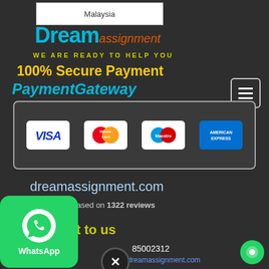Malaysia
Dream assignment
WE ARE READY TO HELP YOU
100% Secure Payment
PaymentGateway
[Figure (logo): Payment card logos: VISA, MasterCard, Maestro, American Express]
dreamassignment.com
Rated 4.9/5 based on 1322 reviews
Reach out to us
85002312
@dreamassignment.com
[Figure (logo): WhatsApp button]
[Figure (other): Chat circle button]